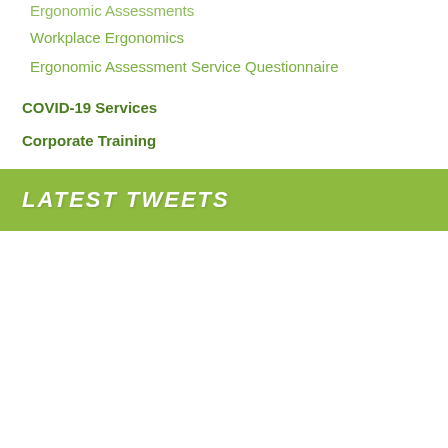Ergonomic Assessments
Workplace Ergonomics
Ergonomic Assessment Service Questionnaire
COVID-19 Services
Corporate Training
LATEST TWEETS